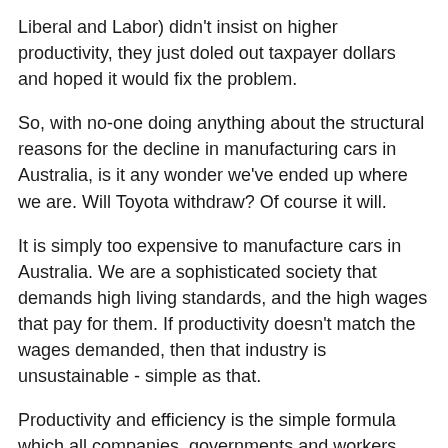Liberal and Labor) didn’t insist on higher productivity, they just doled out taxpayer dollars and hoped it would fix the problem.
So, with no-one doing anything about the structural reasons for the decline in manufacturing cars in Australia, is it any wonder we’ve ended up where we are. Will Toyota withdraw? Of course it will.
It is simply too expensive to manufacture cars in Australia. We are a sophisticated society that demands high living standards, and the high wages that pay for them. If productivity doesn’t match the wages demanded, then that industry is unsustainable - simple as that.
Productivity and efficiency is the simple formula which all companies, governments and workers must look to, to make business sustainable and profitable.